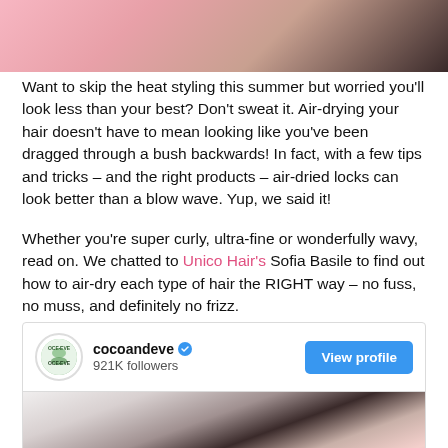[Figure (photo): Partial photo of a person with dark hair, visible at the top of the page against a pink/beige background]
Want to skip the heat styling this summer but worried you'll look less than your best? Don't sweat it. Air-drying your hair doesn't have to mean looking like you've been dragged through a bush backwards! In fact, with a few tips and tricks – and the right products – air-dried locks can look better than a blow wave. Yup, we said it!
Whether you're super curly, ultra-fine or wonderfully wavy, read on. We chatted to Unico Hair's Sofia Basile to find out how to air-dry each type of hair the RIGHT way – no fuss, no muss, and definitely no frizz.
[Figure (screenshot): Instagram widget showing cocoandeve account with verified badge, 921K followers, and a View profile button, with a photo of a person with straight brown hair holding pink roses]
[Figure (photo): Photo of a person with straight brown hair seen from behind, holding a bouquet of pink roses]